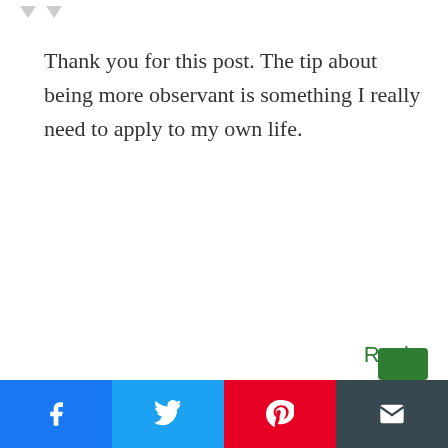Thank you for this post. The tip about being more observant is something I really need to apply to my own life.
Reply
CRAIG THOMAS
Nice post! Trusting my feelings is the hardest challenge, I'm too logically focused. But, I can see what I'd gain if I could trust them. :)